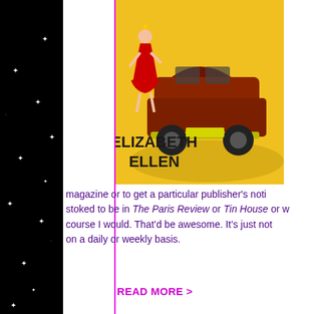[Figure (illustration): Book cover for Elizabeth Ellen showing a stylized woman in a red dress next to a vintage car on a yellow background, with the author name ELIZABETH ELLEN in bold black text]
can always try to... That's certainly o... noticed. Initiate a... Write about it on... thing. Other than... doing what you're... sound like total, la... swear it's true: I e... off on it. I don't d...
magazine or to get a particular publisher's noti... stoked to be in The Paris Review or Tin House or w... course I would. That'd be awesome. It's just not... on a daily or weekly basis.
READ MORE >